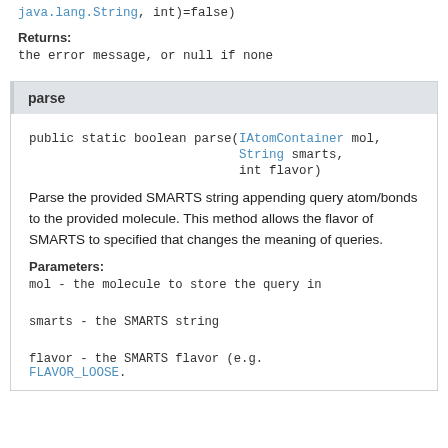java.lang.String, int)=false)
Returns:
the error message, or null if none
parse
public static boolean parse(IAtomContainer mol,
                            String smarts,
                            int flavor)
Parse the provided SMARTS string appending query atom/bonds to the provided molecule. This method allows the flavor of SMARTS to specified that changes the meaning of queries.
Parameters:
mol - the molecule to store the query in
smarts - the SMARTS string
flavor - the SMARTS flavor (e.g. FLAVOR_LOOSE.